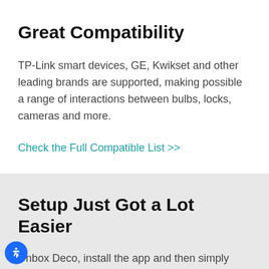Great Compatibility
TP-Link smart devices, GE, Kwikset and other leading brands are supported, making possible a range of interactions between bulbs, locks, cameras and more.
Check the Full Compatible List >>
Setup Just Got a Lot Easier
Unbox Deco, install the app and then simply follow the on-screen directions. Deco will take care of the rest, getting your network up